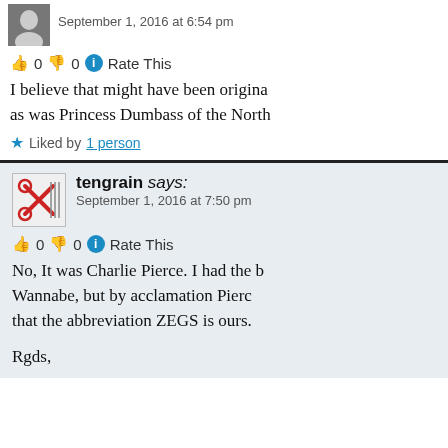September 1, 2016 at 6:54 pm
👍 0 👎 0 ℹ Rate This
I believe that might have been origina as was Princess Dumbass of the North
★ Liked by 1 person
tengrain says:
September 1, 2016 at 7:50 pm
👍 0 👎 0 ℹ Rate This
No, It was Charlie Pierce. I had the b Wannabe, but by acclamation Pierc that the abbreviation ZEGS is ours.
Rgds,